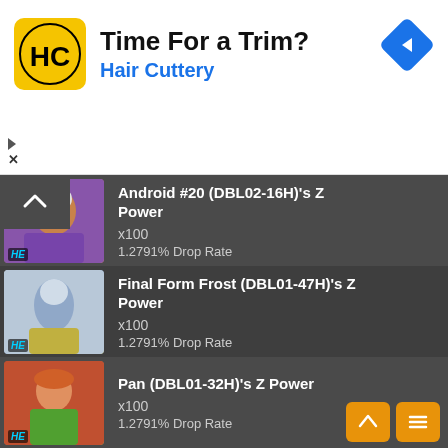[Figure (screenshot): Hair Cuttery advertisement banner with logo, 'Time For a Trim?' headline, and navigation arrow icon]
Android #20 (DBL02-16H)'s Z Power x100 1.2791% Drop Rate
Final Form Frost (DBL01-47H)'s Z Power x100 1.2791% Drop Rate
Pan (DBL01-32H)'s Z Power x100 1.2791% Drop Rate